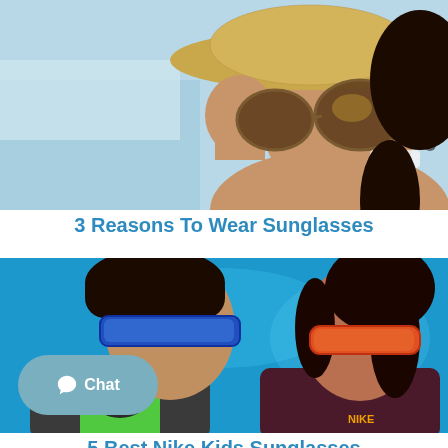[Figure (photo): Woman smiling and wearing sunglasses and a straw hat at the beach]
3 Reasons To Wear Sunglasses
[Figure (photo): Two children wearing sunglasses against a blue background — a boy with blue-lens sport sunglasses and a girl with red-frame sunglasses]
5 Best Nike Kids Sunglasses